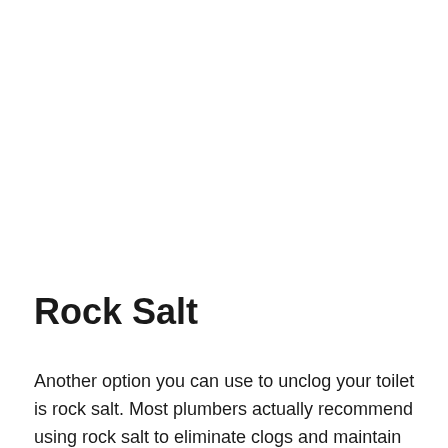Rock Salt
Another option you can use to unclog your toilet is rock salt. Most plumbers actually recommend using rock salt to eliminate clogs and maintain the toilet drain, often using rock salt. To use this, you have to start by